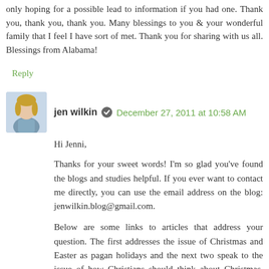only hoping for a possible lead to information if you had one. Thank you, thank you, thank you. Many blessings to you & your wonderful family that I feel I have sort of met. Thank you for sharing with us all. Blessings from Alabama!
Reply
jen wilkin   December 27, 2011 at 10:58 AM
Hi Jenni,
Thanks for your sweet words! I'm so glad you've found the blogs and studies helpful. If you ever want to contact me directly, you can use the email address on the blog: jenwilkin.blog@gmail.com.
Below are some links to articles that address your question. The first addresses the issue of Christmas and Easter as pagan holidays and the next two speak to the issue of how Christians should think about Christmas. These articles are probably just starting points to the discussion, but there are additional resources noted in them. I praise God that you and your husband think intentionally about parenting and